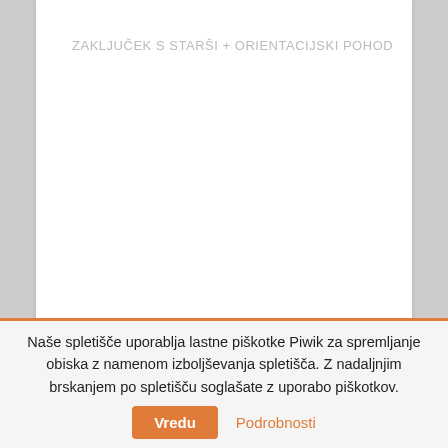ZAKLJUČEK S STARŠI + ORIENTACIJSKI POHOD
Naše spletišče uporablja lastne piškotke Piwik za spremljanje obiska z namenom izboljševanja spletišča. Z nadaljnjim brskanjem po spletišču soglašate z uporabo piškotkov.
Vredu
Podrobnosti